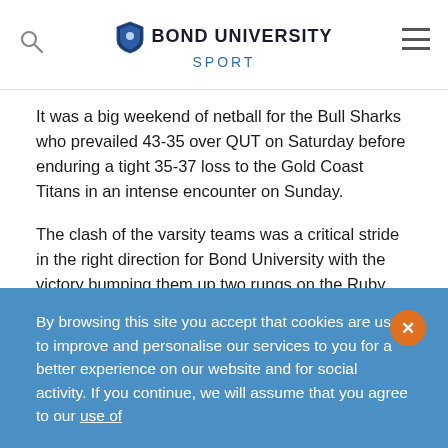BOND UNIVERSITY SPORT
It was a big weekend of netball for the Bull Sharks who prevailed 43-35 over QUT on Saturday before enduring a tight 35-37 loss to the Gold Coast Titans in an intense encounter on Sunday.
The clash of the varsity teams was a critical stride in the right direction for Bond University with the victory bumping them up two rungs on the Ruby Series ladder.
Goal shooter Lucy Garufi, who was awarded Player’s Player for scoring an impressive 26 goals, cemented her position on the Bond team after being elevated from training partner status to woman of the match.
By browsing this site you accept that cookies are used to improve and personalise our services to you for a better experience on our website and for social activity. If you continue, we will assume that you agree to our use of